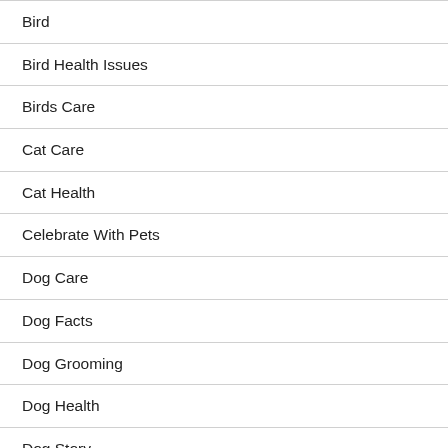Bird
Bird Health Issues
Birds Care
Cat Care
Cat Health
Celebrate With Pets
Dog Care
Dog Facts
Dog Grooming
Dog Health
Dog Story